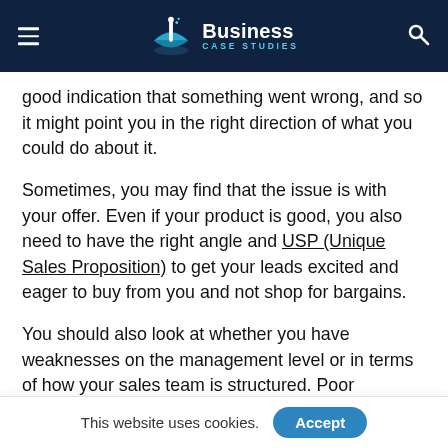Business Case Studies
good indication that something went wrong, and so it might point you in the right direction of what you could do about it.
Sometimes, you may find that the issue is with your offer. Even if your product is good, you also need to have the right angle and USP (Unique Sales Proposition) to get your leads excited and eager to buy from you and not shop for bargains.
You should also look at whether you have weaknesses on the management level or in terms of how your sales team is structured. Poor rewards, bad hiring practices, and even a lack of performance-tracking measures can all make it challenging to improve, so these are issues you
This website uses cookies.